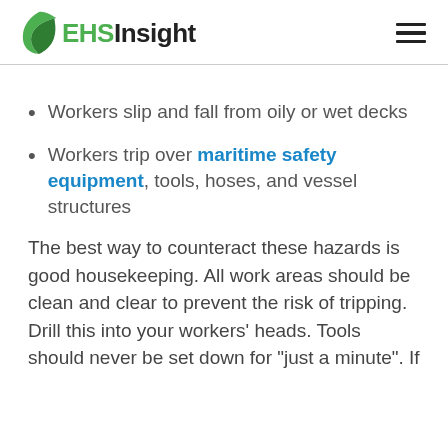EHSInsight
Workers slip and fall from oily or wet decks
Workers trip over maritime safety equipment, tools, hoses, and vessel structures
The best way to counteract these hazards is good housekeeping. All work areas should be clean and clear to prevent the risk of tripping. Drill this into your workers' heads. Tools should never be set down for “just a minute”. If